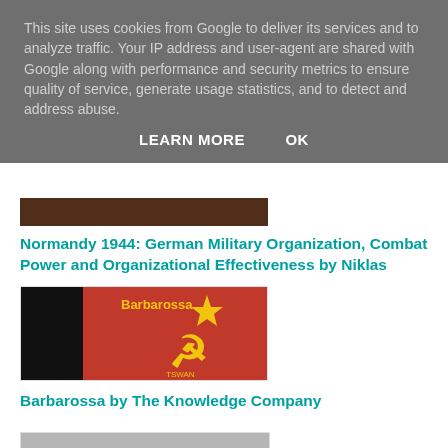This site uses cookies from Google to deliver its services and to analyze traffic. Your IP address and user-agent are shared with Google along with performance and security metrics to ensure quality of service, generate usage statistics, and to detect and address abuse.
LEARN MORE   OK
[Figure (photo): Book cover image - dark brownish tones, partially visible]
Normandy 1944: German Military Organization, Combat Power and Organizational Effectiveness by Niklas
[Figure (photo): Book cover for Barbarossa by The Knowledge Company - red background with yellow Soviet hammer and sickle emblem and star]
Barbarossa by The Knowledge Company
[Figure (photo): Partially visible book cover at bottom of page]